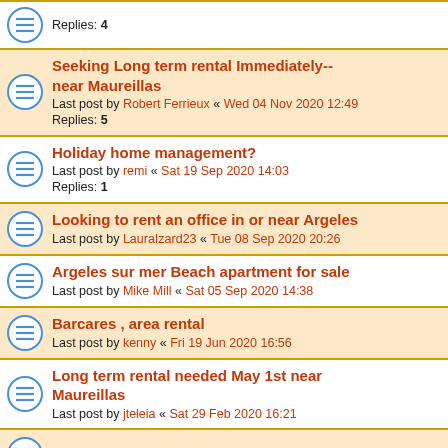Replies: 4
Seeking Long term rental Immediately--near Maureillas
Last post by Robert Ferrieux « Wed 04 Nov 2020 12:49
Replies: 5
Holiday home management?
Last post by remi « Sat 19 Sep 2020 14:03
Replies: 1
Looking to rent an office in or near Argeles
Last post by LauraIzard23 « Tue 08 Sep 2020 20:26
Argeles sur mer Beach apartment for sale
Last post by Mike Mill « Sat 05 Sep 2020 14:38
Barcares , area rental
Last post by kenny « Fri 19 Jun 2020 16:56
Long term rental needed May 1st near Maureillas
Last post by jteleia « Sat 29 Feb 2020 16:21
Antargaz citerne removal